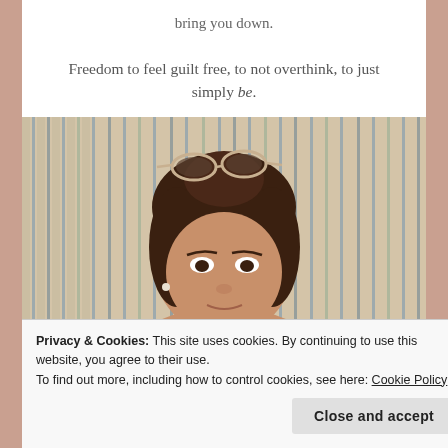bring you down.
Freedom to feel guilt free, to not overthink, to just simply be.
[Figure (photo): Woman with sunglasses on top of her head, against a striped background, cropped at mid-face]
Privacy & Cookies: This site uses cookies. By continuing to use this website, you agree to their use.
To find out more, including how to control cookies, see here: Cookie Policy
Close and accept